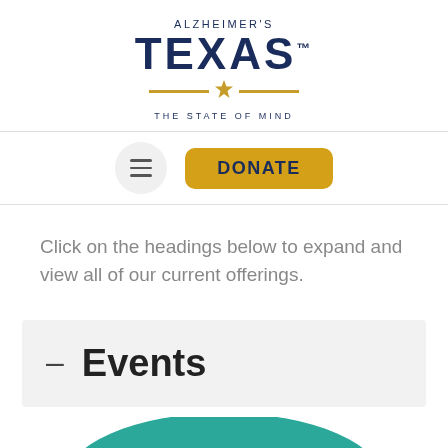[Figure (logo): Alzheimer's Texas logo with text 'ALZHEIMER'S', large 'TEXAS' with trademark symbol, gold horizontal lines with Texas star icon, and tagline 'THE STATE OF MIND']
[Figure (screenshot): Navigation bar with hamburger menu button (three horizontal lines in circle) and gold 'DONATE' button]
Click on the headings below to expand and view all of our current offerings.
– Events
[Figure (illustration): Teal oval/circle shape partially visible at bottom of page]